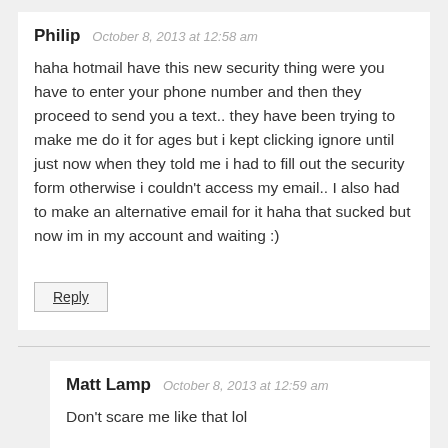Philip   October 8, 2013 at 12:58 am
haha hotmail have this new security thing were you have to enter your phone number and then they proceed to send you a text.. they have been trying to make me do it for ages but i kept clicking ignore until just now when they told me i had to fill out the security form otherwise i couldn't access my email.. I also had to make an alternative email for it haha that sucked but now im in my account and waiting :)
Reply
Matt Lamp   October 8, 2013 at 12:59 am
Don't scare me like that lol
Reply